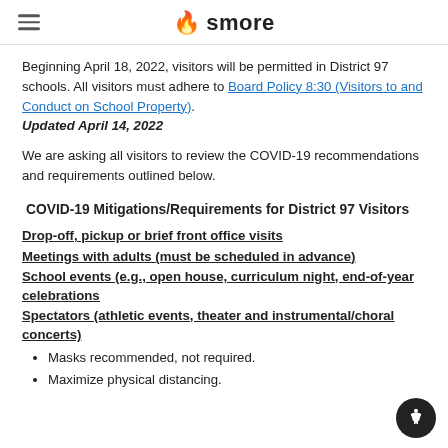smore
Beginning April 18, 2022, visitors will be permitted in District 97 schools. All visitors must adhere to Board Policy 8:30 (Visitors to and Conduct on School Property).
Updated April 14, 2022
We are asking all visitors to review the COVID-19 recommendations and requirements outlined below.
COVID-19 Mitigations/Requirements for District 97 Visitors
Drop-off, pickup or brief front office visits
Meetings with adults (must be scheduled in advance)
School events (e.g., open house, curriculum night, end-of-year celebrations
Spectators (athletic events, theater and instrumental/choral concerts)
Masks recommended, not required.
Maximize physical distancing.